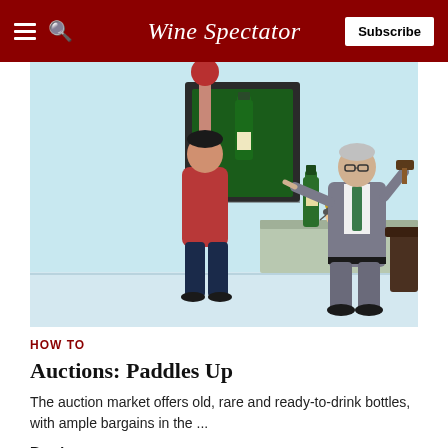Wine Spectator — Subscribe
[Figure (illustration): Cartoon illustration of a wine auction scene: a bidder in a red shirt stretches arm up holding a red paddle, while an auctioneer in a gray suit points and holds a gavel, with a wine bottle on a counter and a framed picture of a wine bottle on the wall in the background.]
HOW TO
Auctions: Paddles Up
The auction market offers old, rare and ready-to-drink bottles, with ample bargains in the ...
Ben Lasman
Feb 29, 2020